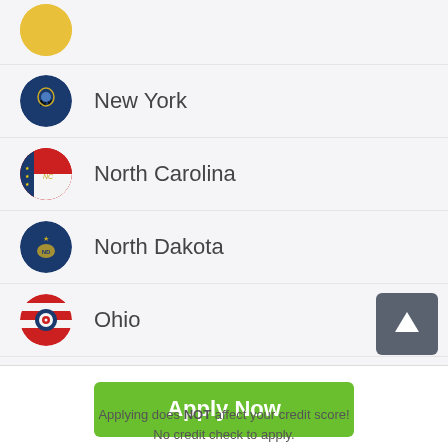New York
North Carolina
North Dakota
Ohio
Oklahoma
[Figure (other): Green Apply Now button with scroll-to-top arrow icon]
Applying does NOT affect your credit score! No credit check to apply.